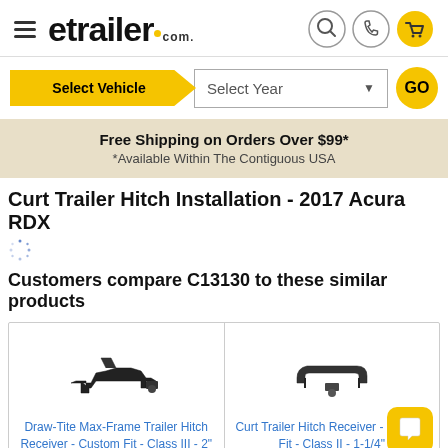[Figure (logo): etrailer.com logo with hamburger menu icon, search, phone, and cart icons]
[Figure (screenshot): Select Vehicle dropdown bar with Select Year and GO button]
Free Shipping on Orders Over $99*
*Available Within The Contiguous USA
Curt Trailer Hitch Installation - 2017 Acura RDX
Customers compare C13130 to these similar products
[Figure (photo): Draw-Tite Max-Frame Trailer Hitch Receiver product image]
Draw-Tite Max-Frame Trailer Hitch Receiver - Custom Fit - Class III - 2"
[Figure (photo): Curt Trailer Hitch Receiver product image]
Curt Trailer Hitch Receiver - Custom Fit - Class II - 1-1/4"